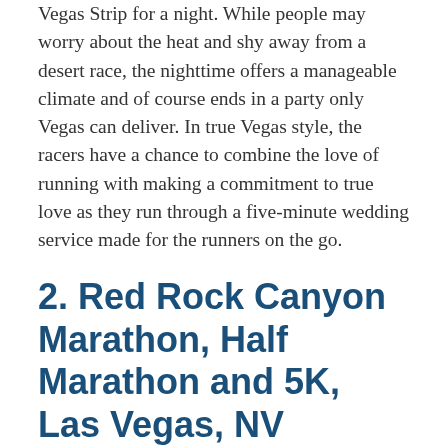Vegas Strip for a night. While people may worry about the heat and shy away from a desert race, the nighttime offers a manageable climate and of course ends in a party only Vegas can deliver. In true Vegas style, the racers have a chance to combine the love of running with making a commitment to true love as they run through a five-minute wedding service made for the runners on the go.
2. Red Rock Canyon Marathon, Half Marathon and 5K, Las Vegas, NV
The Red Rock Canyon event offers a wide range of races for all skill levels that promises to deliver an amazing view from the race route. The desert landscape and red rocks are worth the fast paced run. The race takes place during the mild winter months so